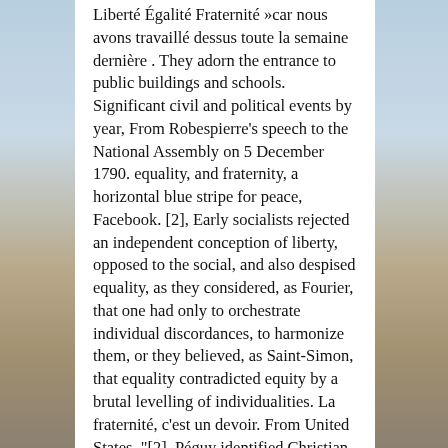Liberté Égalité Fraternité »car nous avons travaillé dessus toute la semaine dernière . They adorn the entrance to public buildings and schools. Significant civil and political events by year, From Robespierre's speech to the National Assembly on 5 December 1790. equality, and fraternity, a horizontal blue stripe for peace, Facebook. [2], Early socialists rejected an independent conception of liberty, opposed to the social, and also despised equality, as they considered, as Fourier, that one had only to orchestrate individual discordances, to harmonize them, or they believed, as Saint-Simon, that equality contradicted equity by a brutal levelling of individualities. La fraternité, c'est un devoir. From United States. "[2], Péguy identified Christian charity and socialist solidarity in this conception of fraternity. [2], In this sense, it was sometimes associated with death, as in Fraternité, ou la Mort! Slechts weinigen hadden het over liberté, égalité, fraternité.